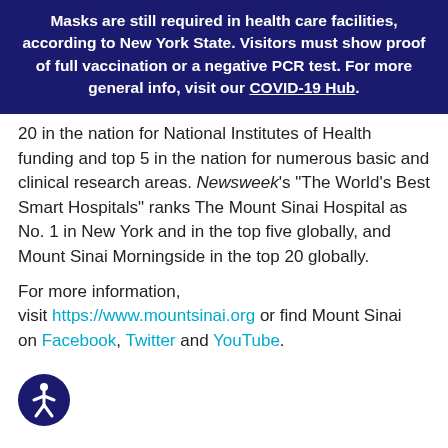Masks are still required in health care facilities, according to New York State. Visitors must show proof of full vaccination or a negative PCR test. For more general info, visit our COVID-19 Hub.
20 in the nation for National Institutes of Health funding and top 5 in the nation for numerous basic and clinical research areas. Newsweek's "The World's Best Smart Hospitals" ranks The Mount Sinai Hospital as No. 1 in New York and in the top five globally, and Mount Sinai Morningside in the top 20 globally.
For more information, visit https://www.mountsinai.org or find Mount Sinai on Facebook, Twitter and YouTube.
[Figure (illustration): Accessibility icon — white person figure in a circle on dark blue background, bottom left corner]